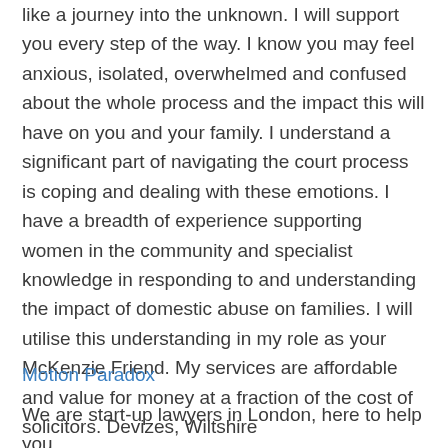like a journey into the unknown. I will support you every step of the way. I know you may feel anxious, isolated, overwhelmed and confused about the whole process and the impact this will have on you and your family. I understand a significant part of navigating the court process is coping and dealing with these emotions. I have a breadth of experience supporting women in the community and specialist knowledge in responding to and understanding the impact of domestic abuse on families. I will utilise this understanding in my role as your McKenzie Friend. My services are affordable and value for money at a fraction of the cost of solicitors. Devizes, Wiltshire
Motion Paradox
We are start-up lawyers in London, here to help you